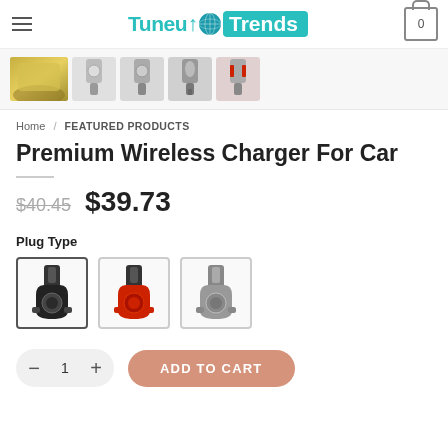TuneUp Trends — Navigation bar with logo and cart icon
[Figure (screenshot): Thumbnail strip of product images showing wireless car charger variants]
Home / FEATURED PRODUCTS
Premium Wireless Charger For Car
$40.45  $39.73
Plug Type
[Figure (photo): Three plug type variant swatch images: black, red, and silver wireless car charger holders]
- 1 + ADD TO CART